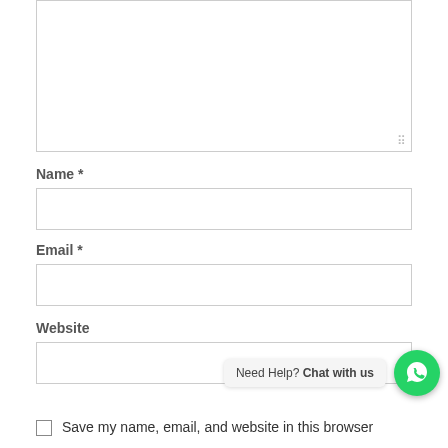[Figure (screenshot): Large empty textarea form field with resize handle in bottom-right corner]
Name *
[Figure (screenshot): Empty text input field for Name]
Email *
[Figure (screenshot): Empty text input field for Email]
Website
[Figure (screenshot): Empty text input field for Website]
[Figure (screenshot): WhatsApp chat widget: 'Need Help? Chat with us' with green WhatsApp icon button]
Save my name, email, and website in this browser